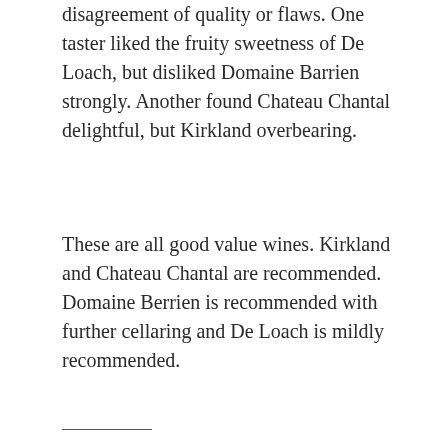disagreement of quality or flaws. One taster liked the fruity sweetness of De Loach, but disliked Domaine Barrien strongly. Another found Chateau Chantal delightful, but Kirkland overbearing.
These are all good value wines. Kirkland and Chateau Chantal are recommended. Domaine Berrien is recommended with further cellaring and De Loach is mildly recommended.